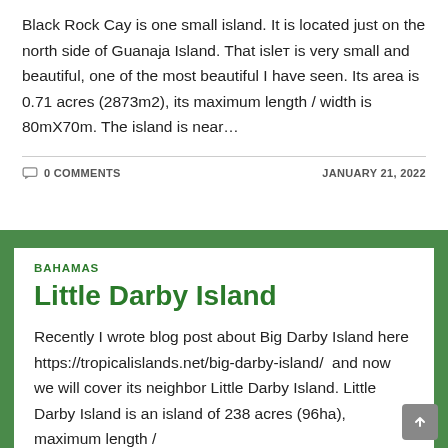Black Rock Cay is one small island. It is located just on the north side of Guanaja Island. That islet is very small and beautiful, one of the most beautiful I have seen. Its area is 0.71 acres (2873m2), its maximum length / width is 80mX70m. The island is near…
0 COMMENTS    JANUARY 21, 2022
BAHAMAS
Little Darby Island
Recently I wrote blog post about Big Darby Island here https://tropicalislands.net/big-darby-island/  and now we will cover its neighbor Little Darby Island. Little Darby Island is an island of 238 acres (96ha), maximum length /